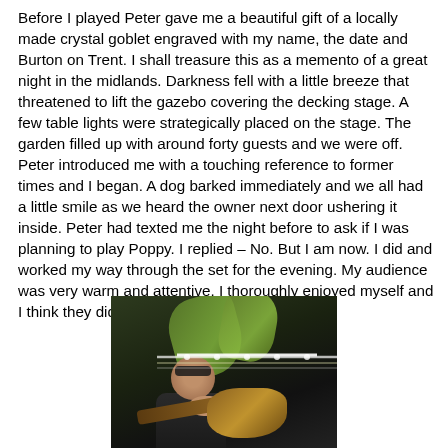Before I played Peter gave me a beautiful gift of a locally made crystal goblet engraved with my name, the date and Burton on Trent. I shall treasure this as a memento of a great night in the midlands. Darkness fell with a little breeze that threatened to lift the gazebo covering the decking stage. A few table lights were strategically placed on the stage. The garden filled up with around forty guests and we were off. Peter introduced me with a touching reference to former times and I began. A dog barked immediately and we all had a little smile as we heard the owner next door ushering it inside. Peter had texted me the night before to ask if I was planning to play Poppy. I replied – No. But I am now. I did and worked my way through the set for the evening. My audience was very warm and attentive. I thoroughly enjoyed myself and I think they did.
[Figure (photo): A person wearing sunglasses playing a guitar on stage at night, with large green leaves visible in the background and bright light streaks reflecting off the guitar.]